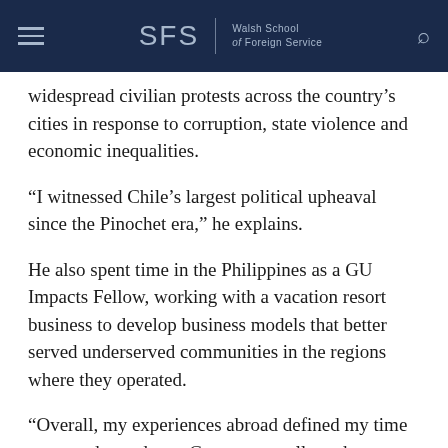SFS | Walsh School of Foreign Service
widespread civilian protests across the country’s cities in response to corruption, state violence and economic inequalities.
“I witnessed Chile’s largest political upheaval since the Pinochet era,” he explains.
He also spent time in the Philippines as a GU Impacts Fellow, working with a vacation resort business to develop business models that better served underserved communities in the regions where they operated.
“Overall, my experiences abroad defined my time as an undergraduate. Georgetown allowed me to travel to and meet people in places I never would have been able to